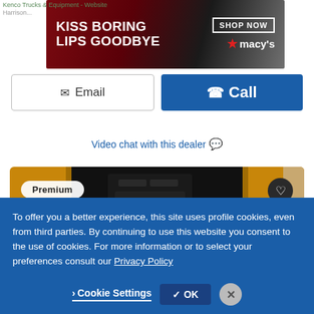Kenco Trucks & Equipment - Website
[Figure (photo): Macy's advertisement banner: KISS BORING LIPS GOODBYE with SHOP NOW button and Macy's star logo, woman with red lipstick in background]
Email
Call
Video chat with this dealer
[Figure (photo): Yellow truck interior showing black leather seats, steering wheel, dashboard controls. Premium badge in top left, heart/favorite button in top right.]
To offer you a better experience, this site uses profile cookies, even from third parties. By continuing to use this website you consent to the use of cookies. For more information or to select your preferences consult our Privacy Policy
Cookie Settings
OK